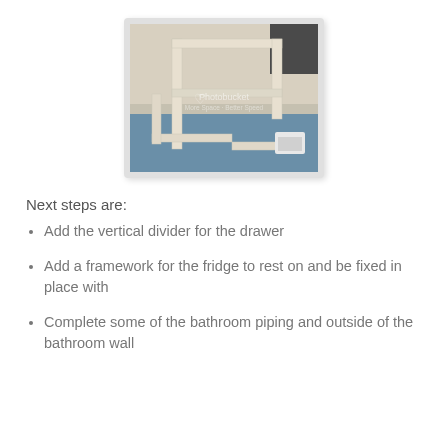[Figure (photo): A wooden frame/cabinet structure under construction, photographed indoors. The frame appears to be a partially assembled furniture piece with white/light-colored wood members, sitting on a blue surface. A Photobucket watermark is visible in the center of the image.]
Next steps are:
Add the vertical divider for the drawer
Add a framework for the fridge to rest on and be fixed in place with
Complete some of the bathroom piping and outside of the bathroom wall